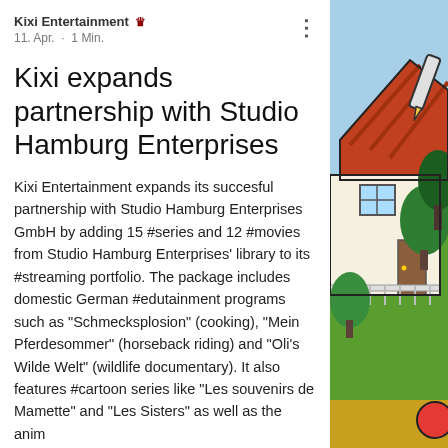Kixi Entertainment 👑
11. Apr. · 1 Min.
Kixi expands partnership with Studio Hamburg Enterprises
Kixi Entertainment expands its succesful partnership with Studio Hamburg Enterprises GmbH by adding 15 #series and 12 #movies from Studio Hamburg Enterprises' library to its #streaming portfolio. The package includes domestic German #edutainment programs such as "Schmecksplosion" (cooking), "Mein Pferdesommer" (horseback riding) and "Oli's Wilde Welt" (wildlife documentary). It also features #cartoon series like "Les souvenirs de Mamette" and "Les Sisters" as well as the anim
[Figure (illustration): Cartoon illustration of a house with trees and garden on the right side of the page]